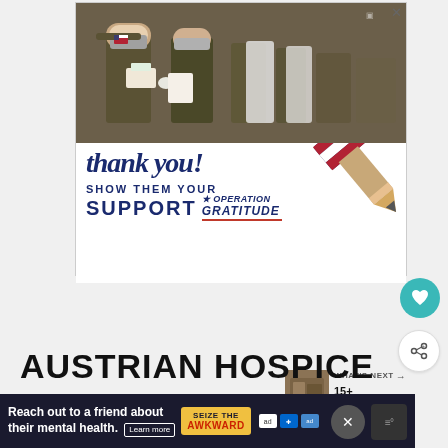[Figure (photo): Advertisement banner: Military personnel in camouflage uniforms and masks reviewing documents, with a patriotic pencil graphic and 'thank you! SHOW THEM YOUR SUPPORT OPERATION GRATITUDE' text on white background]
[Figure (illustration): Heart/like button (teal circle) and share button (white circle with share icon)]
WHAT'S NEXT →
15+ INCREDIBL...
AUSTRIAN HOSPICE
[Figure (screenshot): Bottom advertisement banner: dark navy background with text 'Reach out to a friend about their mental health. Learn more' and 'SEIZE THE AWKWARD' badge]